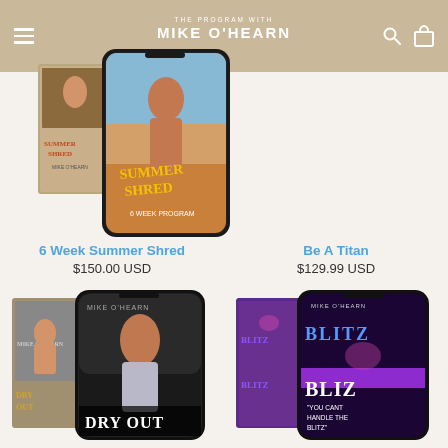MIKE O'HEARN
[Figure (photo): Product image for 6 Week Summer Shred - box and phone mockup showing Mike D'Hearn fitness program]
6 Week Summer Shred
$150.00 USD
[Figure (photo): Product image for Be A Titan fitness program by Mike O'Hearn]
Be A Titan
$129.99 USD
[Figure (photo): Product image for Dry Out fitness program - box and phone mockup showing Mike O'Hearn]
[Figure (photo): Product image for Blitz program - phone mockup with purple neon theme reading 'You Can't Handle The Blitz']